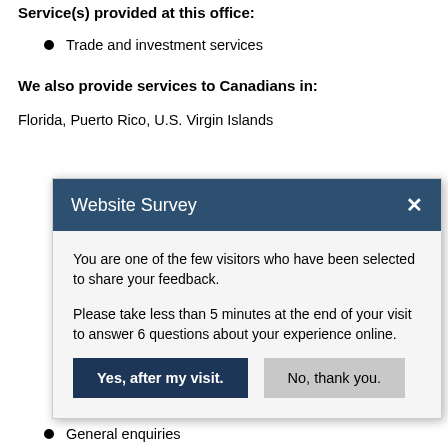Service(s) provided at this office:
Trade and investment services
We also provide services to Canadians in:
Florida, Puerto Rico, U.S. Virgin Islands
[Figure (screenshot): Website Survey modal dialog with dark blue header, close button (×), body text asking visitor to participate in a survey, and two buttons: 'Yes, after my visit.' (dark blue) and 'No, thank you.' (grey)]
General enquiries